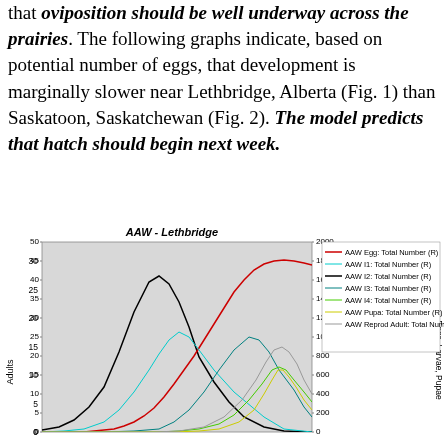that oviposition should be well underway across the prairies. The following graphs indicate, based on potential number of eggs, that development is marginally slower near Lethbridge, Alberta (Fig. 1) than Saskatoon, Saskatchewan (Fig. 2). The model predicts that hatch should begin next week.
[Figure (continuous-plot): Line chart showing AAW population dynamics near Lethbridge. Left y-axis: Adults (0-50). Right y-axis: Eggs, Larvae, Pupae (0-2000). Series include: AAW Egg Total Number (red line, rising to ~45 adults equivalent), AAW I1 Total Number (cyan), AAW I2 Total Number (black, peak ~41), AAW I3 Total Number (teal), AAW I4 Total Number (green), AAW Pupa Total Number (yellow), AAW Reprod Adult Total Number (gray). Chart has gray background.]